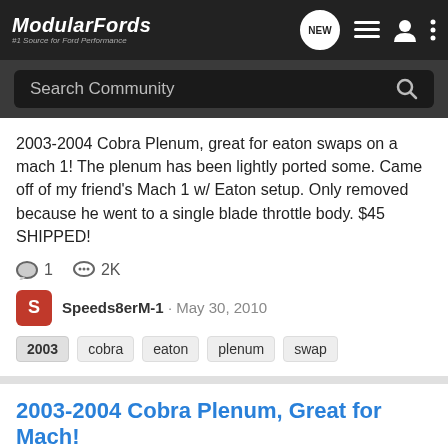ModularFords - #1 Source for Ford Performance
Search Community
2003-2004 Cobra Plenum, great for eaton swaps on a mach 1! The plenum has been lightly ported some. Came off of my friend's Mach 1 w/ Eaton setup. Only removed because he went to a single blade throttle body. $45 SHIPPED!
1  2K
Speeds8erM-1 · May 30, 2010
2003
cobra
eaton
plenum
swap
2003-2004 Cobra Plenum, Great for Mach!
Engine Parts
2003-2004 Cobra Plenum, great for eaton swaps on a mach 1! The plenum has been lightly ported some. Came off of my friend's Mach 1 w/ Eaton setup. Only removed because he